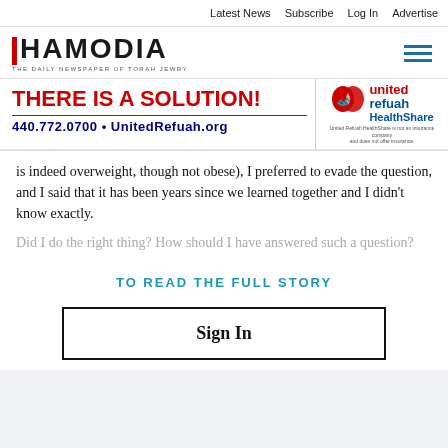Latest News   Subscribe   Log In   Advertise
[Figure (logo): Hamodia logo — 'THE DAILY NEWSPAPER OF TORAH JEWRY' — with hamburger menu icon]
[Figure (infographic): Ad banner: 'THERE IS A SOLUTION!' in red, '440.772.0700 • UnitedRefuah.org' in navy, with United Refuah HealthShare logo and disclaimer]
is indeed overweight, though not obese), I preferred to evade the question, and I said that it has been years since we learned together and I didn't know exactly.
Did I do the right thing? How should I have answered such a question?
TO READ THE FULL STORY
Sign In